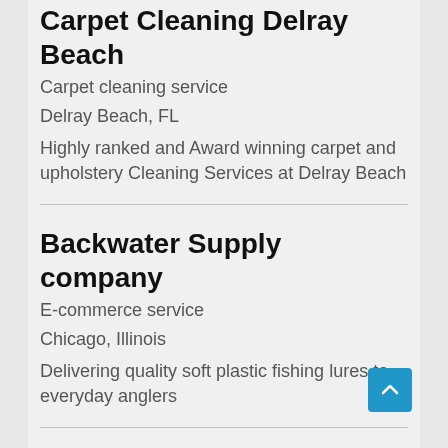Carpet Cleaning Delray Beach
Carpet cleaning service
Delray Beach, FL
Highly ranked and Award winning carpet and upholstery Cleaning Services at Delray Beach
Backwater Supply company
E-commerce service
Chicago, Illinois
Delivering quality soft plastic fishing lures to everyday anglers
5 Star Remodeling and